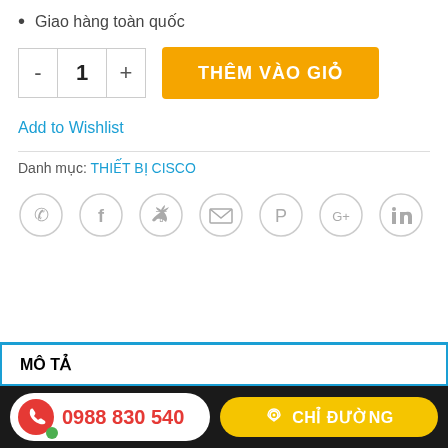Giao hàng toàn quốc
[Figure (screenshot): Quantity selector with minus, 1, plus buttons and orange 'THÊM VÀO GIỎ' (Add to Cart) button]
Add to Wishlist
Danh mục: THIẾT BỊ CISCO
[Figure (infographic): Row of 7 circular social share icons: phone, Facebook, Twitter, email, Pinterest, Google+, LinkedIn]
MÔ TẢ
0988 830 540   CHỈ ĐƯỜNG